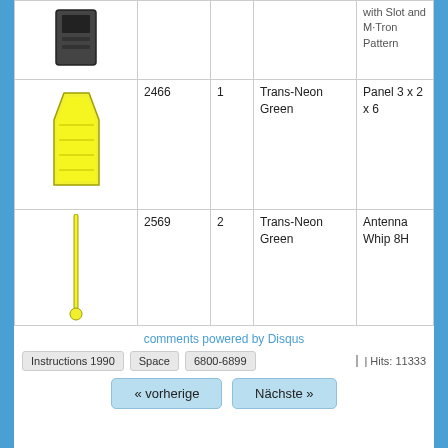| Image | ID | Qty | Color | Part Name |
| --- | --- | --- | --- | --- |
| [image] | 2466 | 1 | Trans-Neon Green | Panel 3 x 2 x 6 |
| [image] | 2569 | 2 | Trans-Neon Green | Antenna Whip 8H |
| [image] | 4589 | 2 | Trans-Neon Green | Cone 1 x 1 without Top Groove |
| [image] | 4740 | 2 | Trans-Neon Green | Dish 2 x 2 Inverted (Radar) |
comments powered by Disqus
Instructions 1990
Space
6800-6899
Hits: 11333
« vorherige
Nächste »